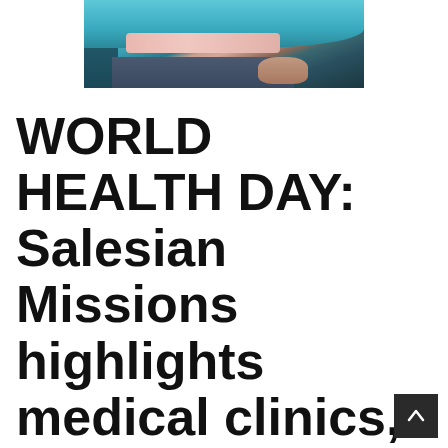[Figure (photo): Close-up photo of a person lying down, wearing a teal/blue top and a pink shirt, with jeans visible. A hand is visible in the lower right. The image suggests a medical or healthcare setting.]
WORLD HEALTH DAY: Salesian Missions highlights medical clinics, programs that ensure poor youth access to